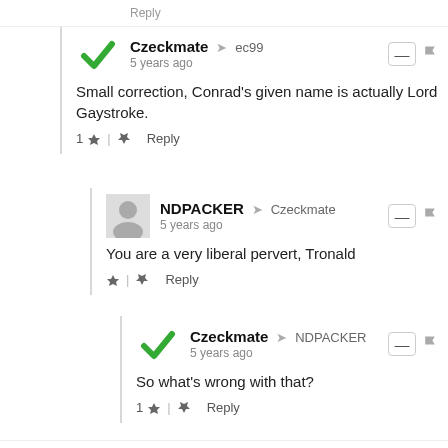Czeckmate → ec99 | 5 years ago | Small correction, Conrad's given name is actually Lord Gaystroke.
NDPACKER → Czeckmate | 5 years ago | You are a very liberal pervert, Tronald
Czeckmate → NDPACKER | 5 years ago | So what's wrong with that?
King Ripper | 5 years ago | Hide-y will say and/or do anything in her attempt to get re-elected. But when push comes to shove, she will side with the Democrat party against North Dakota's as well as the